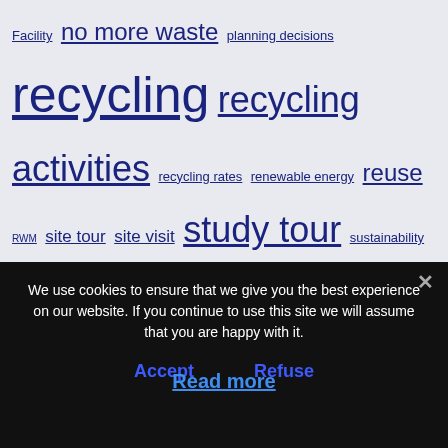[Figure (other): Tag cloud with environmental/recycling keywords of varying font sizes on a light blue-grey background. Terms include: Facility, no more waste, planning decisions, recycling, recycling activities, recycling rates, renewable energy, reuse, RWM, site tour, site visit, study tour, sustainability, sustainable energy, Sustainable living, UK, wasted resources, waste industry, waste]
We use cookies to ensure that we give you the best experience on our website. If you continue to use this site we will assume that you are happy with it.
Accept
Refuse
Read more